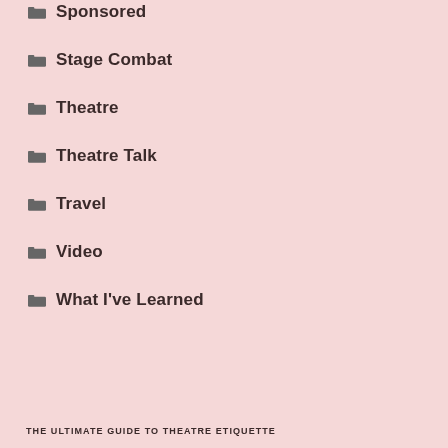Sponsored
Stage Combat
Theatre
Theatre Talk
Travel
Video
What I've Learned
THE ULTIMATE GUIDE TO THEATRE ETIQUETTE